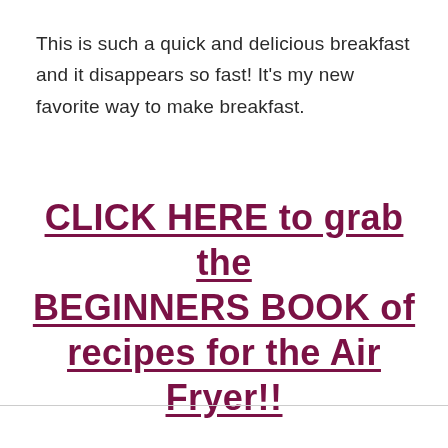This is such a quick and delicious breakfast and it disappears so fast! It's my new favorite way to make breakfast.
CLICK HERE to grab the BEGINNERS BOOK of recipes for the Air Fryer!!